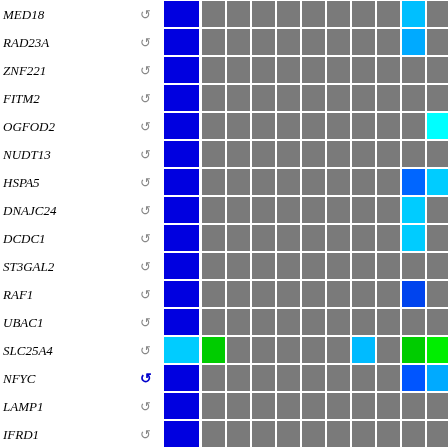[Figure (other): Heatmap grid showing gene expression data for genes MED18, RAD23A, ZNF221, FITM2, OGFOD2, NUDT13, HSPA5, DNAJC24, DCDC1, ST3GAL2, RAF1, UBAC1, SLC25A4, NFYC, LAMP1, IFRD1. Each row has a gene name label, a circular arrow icon, and colored grid cells. First column cells are mostly blue (dark blue or cyan), with remaining grid cells in gray, blue, cyan, or green indicating expression levels.]